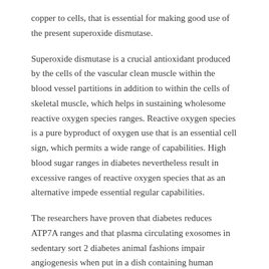copper to cells, that is essential for making good use of the present superoxide dismutase.
Superoxide dismutase is a crucial antioxidant produced by the cells of the vascular clean muscle within the blood vessel partitions in addition to within the cells of skeletal muscle, which helps in sustaining wholesome reactive oxygen species ranges. Reactive oxygen species is a pure byproduct of oxygen use that is an essential cell sign, which permits a wide range of capabilities. High blood sugar ranges in diabetes nevertheless result in excessive ranges of reactive oxygen species that as an alternative impede essential regular capabilities.
The researchers have proven that diabetes reduces ATP7A ranges and that plasma circulating exosomes in sedentary sort 2 diabetes animal fashions impair angiogenesis when put in a dish containing human endothelial cells, and likewise in a wound therapeutic animal mannequin.
Superoxide dismutase is silenced naturally in endothelial cells,